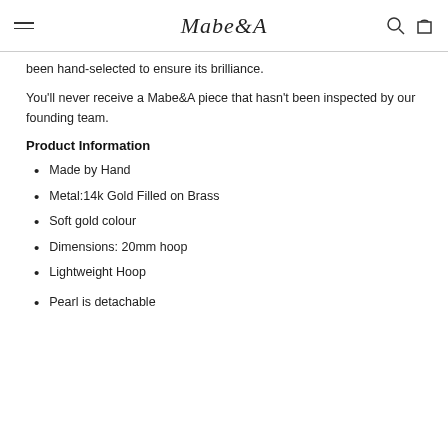Mabe&A
been hand-selected to ensure its brilliance.
You'll never receive a Mabe&A piece that hasn't been inspected by our founding team.
Product Information
Made by Hand
Metal:14k Gold Filled on Brass
Soft gold colour
Dimensions: 20mm hoop
Lightweight Hoop
Pearl is detachable